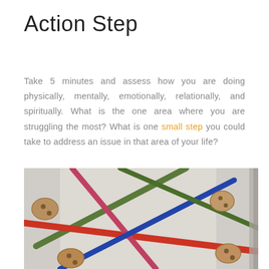Action Step
Take 5 minutes and assess how you are doing physically, mentally, emotionally, relationally, and spiritually. What is the one area where you are struggling the most? What is one small step you could take to address an issue in that area of your life?
[Figure (photo): Close-up photo of a colorful wooden bead maze toy with crossed red, blue, green, and dark red rods threaded through wooden bead connectors on a white background.]